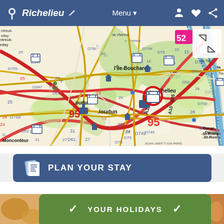Richelieu  Menu
[Figure (map): Road map showing Richelieu and surrounding area in France, with towns including Moncontour, Loudun, l'Île-Bouchard, Dange-St-Romain, Montreuil-Bellay, Les Trois-Moutiers. Roads D52, D61, D750, D757, D759, D76, D910, D58, D749, D75, A10-E05 visible. Map copyright SCAN 1000 © IGN PARIS. Red circle marker on Richelieu. Expand/collapse map control in top right.]
[Figure (infographic): Blue rounded rectangle button with document/checklist icon and text PLAN YOUR STAY in white bold capitals]
[Figure (infographic): Green rounded rectangle bar with chevron arrows on either side and text YOUR HOLIDAYS in white bold capitals. Photo strips of food visible on left and right edges.]